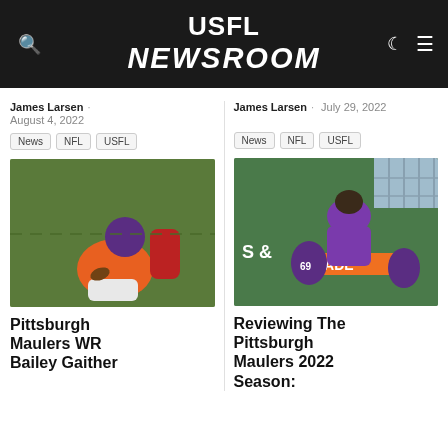USFL NEWSROOM
James Larsen · August 4, 2022
News  NFL  USFL
[Figure (photo): Football player in orange and purple uniform making a catch or diving for the ball on the field]
Pittsburgh Maulers WR Bailey Gaither
James Larsen · July 29, 2022
News  NFL  USFL
[Figure (photo): Coach in purple hoodie leaning over players on the sideline, with Gatorade branding visible]
Reviewing The Pittsburgh Maulers 2022 Season: